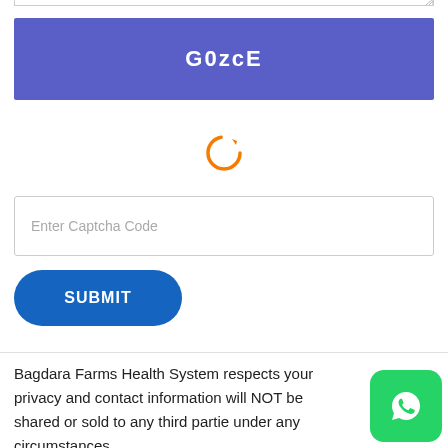[Figure (screenshot): CAPTCHA display box showing code G0zcE in white bold text on a blue/indigo background]
[Figure (other): Orange circular refresh/reload icon for regenerating captcha]
Enter Captcha Code
SUBMIT
Bagdara Farms Health System respects your privacy and contact information will NOT be shared or sold to any third parties under any circumstances.
[Figure (logo): WhatsApp icon — green rounded square with white phone/chat bubble logo]